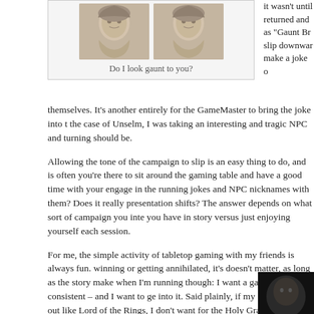[Figure (photo): Two NPC character portraits side by side in a bordered box]
Do I look gaunt to you?
it wasn't until... returned and... as "Gaunt Br... slip downwar... make a joke o... themselves. It's another entirely for the GameMaster to bring the joke into the case of Unselm, I was taking an interesting and tragic NPC and turning... should be.
Allowing the tone of the campaign to slip is an easy thing to do, and is often... you're there to sit around the gaming table and have a good time with your... engage in the running jokes and NPC nicknames with them? Does it really... presentation shifts? The answer depends on what sort of campaign you inte... you have in story versus just enjoying yourself each session.
For me, the simple activity of tabletop gaming with my friends is always fun... winning or getting annihilated, it's doesn't matter, as long as the story make... when I'm running though: I want a game that's consistent – and I want to ge... into it. Said plainly, if my game starts out like Lord of the Rings, I don't want... for the Holy Grail by the end (or vice versa). Also, I don't want to have inves... seen or go to waste.
To that end, it becomes important to double check myself, and the reasons why I am doing things. I didn't decide to put... ble decisions are arising from a deeply held conviction...
[Figure (photo): Partial dark image at bottom right corner]